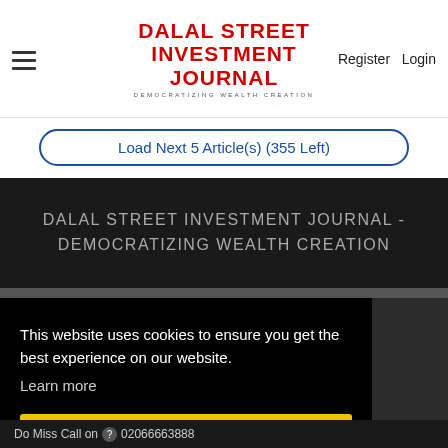DALAL STREET INVESTMENT JOURNAL - DEMOCRATIZING WEALTH CREATION
Load Next 5 Article(s) (355 Left)
DALAL STREET INVESTMENT JOURNAL - DEMOCRATIZING WEALTH CREATION
This website uses cookies to ensure you get the best experience on our website.
Learn more
Got it!
Do Miss Call on 02066663888